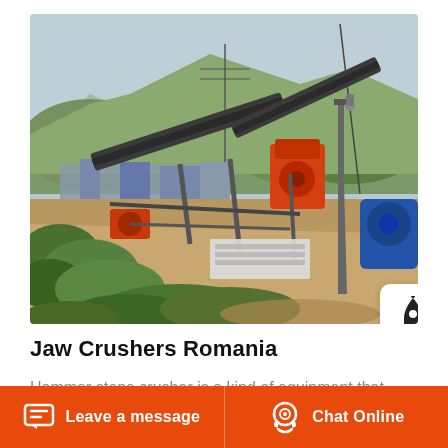[Figure (photo): Aerial/elevated view of an industrial stone crushing plant with conveyor belts, heavy machinery including orange-colored crushers, metal structures, industrial buildings, green vegetation in foreground, mountains and trees in background]
Jaw Crushers Romania
Hammer stone crusher is a kind of equipment that crushes materials in the form of impact.
Leave a message  Chat Online